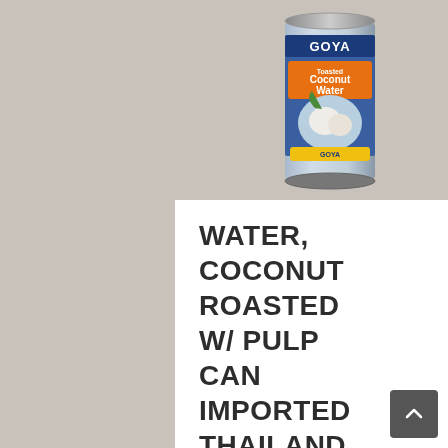[Figure (photo): Photo of a Goya Coconut Water (Toasted Coconut Water with Pulp) tall can with blue label on a gray/beige background]
WATER, COCONUT ROASTED W/ PULP CAN IMPORTED THAILAND – 24/17.6 OZ